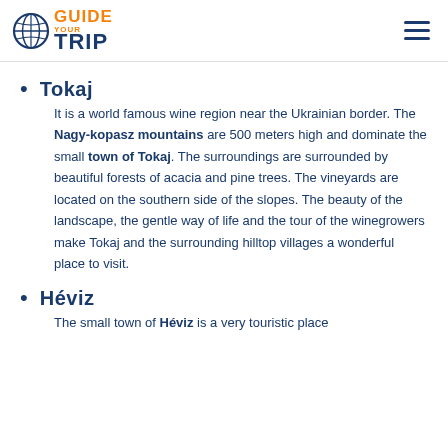Guide Your Trip
Tokaj
It is a world famous wine region near the Ukrainian border. The Nagy-kopasz mountains are 500 meters high and dominate the small town of Tokaj. The surroundings are surrounded by beautiful forests of acacia and pine trees. The vineyards are located on the southern side of the slopes. The beauty of the landscape, the gentle way of life and the tour of the winegrowers make Tokaj and the surrounding hilltop villages a wonderful place to visit.
Héviz
The small town of Héviz is a very touristic place